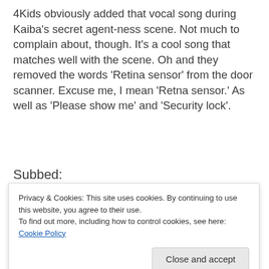4Kids obviously added that vocal song during Kaiba's secret agent-ness scene. Not much to complain about, though. It's a cool song that matches well with the scene. Oh and they removed the words 'Retina sensor' from the door scanner. Excuse me, I mean 'Retna sensor.' As well as 'Please show me' and 'Security lock'.
Subbed:
[Figure (screenshot): Screenshot of an animated scene showing a dark blue security scanner panel with a glowing scanner line and green 'RETINA SENSOR' text at the bottom.]
Privacy & Cookies: This site uses cookies. By continuing to use this website, you agree to their use.
To find out more, including how to control cookies, see here: Cookie Policy